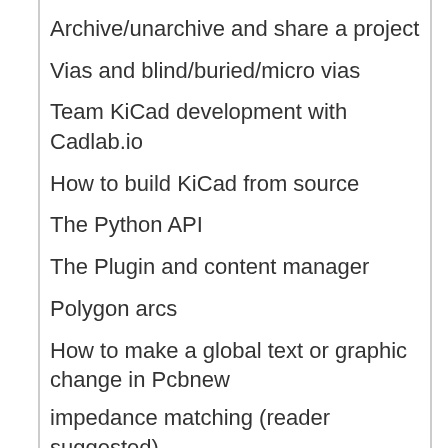Archive/unarchive and share a project
Vias and blind/buried/micro vias
Team KiCad development with Cadlab.io
How to build KiCad from source
The Python API
The Plugin and content manager
Polygon arcs
How to make a global text or graphic change in Pcbnew
impedance matching (reader suggested)
high-speed design (reader suggested)
best practices for PCB design (reader suggested)
15 - Conclusion
Congratulations!